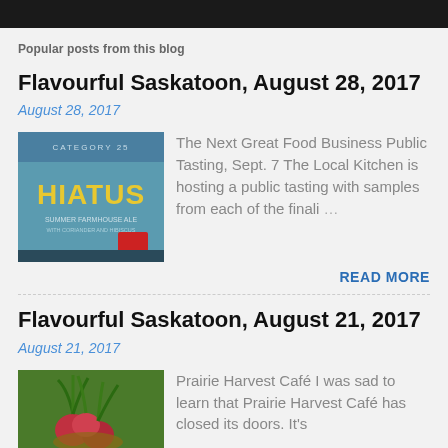Popular posts from this blog
Flavourful Saskatoon, August 28, 2017
August 28, 2017
[Figure (photo): Book/beverage cover image with yellow text reading HIATUS on a teal/blue background, with text Summer Farmhouse Ale]
The Next Great Food Business Public Tasting, Sept. 7 The Local Kitchen is hosting a public tasting with samples from each of the finali …
READ MORE
Flavourful Saskatoon, August 21, 2017
August 21, 2017
[Figure (photo): Colorful vegetables or produce, appears to be radishes or beets with green tops in a basket]
Prairie Harvest Café I was sad to learn that Prairie Harvest Café has closed its doors. It's